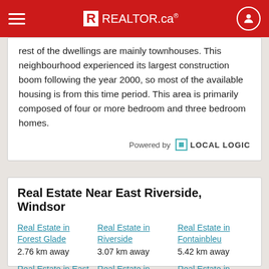REALTOR.ca
rest of the dwellings are mainly townhouses. This neighbourhood experienced its largest construction boom following the year 2000, so most of the available housing is from this time period. This area is primarily composed of four or more bedroom and three bedroom homes.
Powered by LOCAL LOGIC
Real Estate Near East Riverside, Windsor
Real Estate in Forest Glade
2.76 km away
Real Estate in Riverside
3.07 km away
Real Estate in Fontainbleu
5.42 km away
Real Estate in East Windsor
6.00 km away
Real Estate in Walker Farm
6.36 km away
Real Estate in Sandwich South
6.67 km away